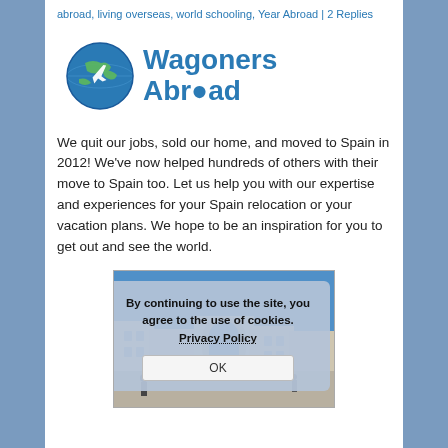abroad, living overseas, world schooling, Year Abroad | 2 Replies
[Figure (logo): Wagoners Abroad logo with globe icon showing airplane, and blue text 'Wagoners Abroad']
We quit our jobs, sold our home, and moved to Spain in 2012! We've now helped hundreds of others with their move to Spain too. Let us help you with our expertise and experiences for your Spain relocation or your vacation plans. We hope to be an inspiration for you to get out and see the world.
[Figure (screenshot): Screenshot of a street scene in Spain with a cookie consent overlay dialog. The dialog reads: 'By continuing to use the site, you agree to the use of cookies. Privacy Policy' with an OK button.]